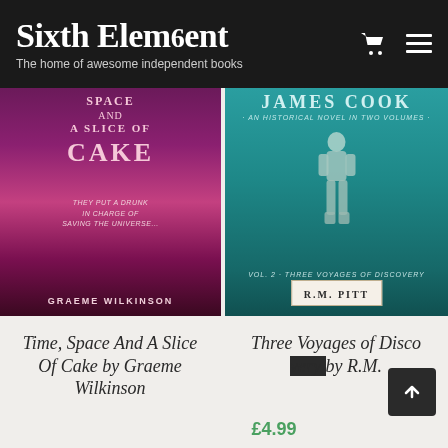Sixth Element — The home of awesome independent books
[Figure (photo): Book cover: Time, Space And A Slice Of Cake by Graeme Wilkinson — pink/purple tones with large text on a cosmic background]
[Figure (photo): Book cover: James Cook — An Historical Novel in Two Volumes, Vol. 2 Three Voyages of Discovery by R.M. Pitt — teal/green with figure of a man in period costume]
Time, Space And A Slice Of Cake by Graeme Wilkinson
Three Voyages of Discovery by R.M. Pitt
£4.99